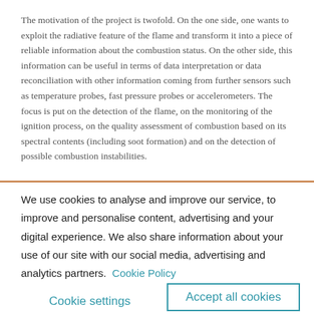The motivation of the project is twofold. On the one side, one wants to exploit the radiative feature of the flame and transform it into a piece of reliable information about the combustion status. On the other side, this information can be useful in terms of data interpretation or data reconciliation with other information coming from further sensors such as temperature probes, fast pressure probes or accelerometers. The focus is put on the detection of the flame, on the monitoring of the ignition process, on the quality assessment of combustion based on its spectral contents (including soot formation) and on the detection of possible combustion instabilities.
We use cookies to analyse and improve our service, to improve and personalise content, advertising and your digital experience. We also share information about your use of our site with our social media, advertising and analytics partners.  Cookie Policy
Cookie settings
Accept all cookies